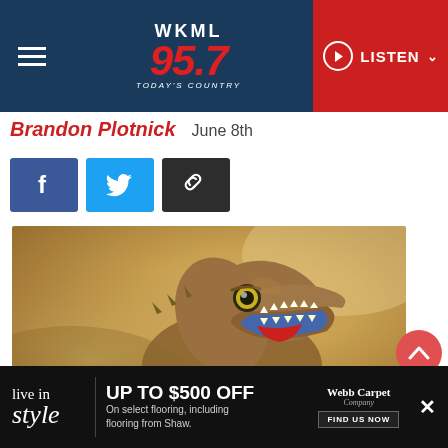[Figure (screenshot): WKML 95.7 Today's Country radio station website header with hamburger menu, logo, and red LISTEN button]
Brandon Plotnick   June 8th
[Figure (infographic): Social share buttons: Facebook (blue f), Twitter (blue bird), and link copy (dark chain icon)]
[Figure (photo): Close-up photograph of a toy T-Rex dinosaur with open mouth, yellow eye, red tongue, against a blurred brown/tan background]
[Figure (infographic): Advertisement banner: 'live in style UP TO $500 OFF On select flooring, including flooring from Shaw. Webb Carpet Company FIND US NOW' with X close button]